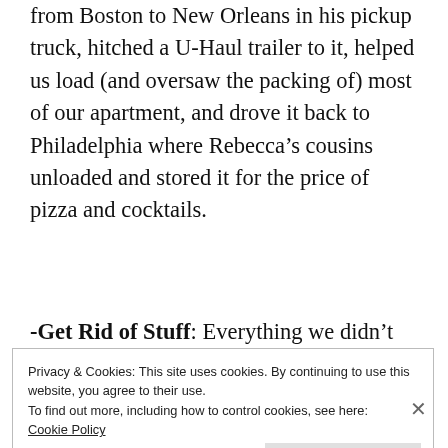certified card-carrying saint, drove 1,500 miles from Boston to New Orleans in his pickup truck, hitched a U-Haul trailer to it, helped us load (and oversaw the packing of) most of our apartment, and drove it back to Philadelphia where Rebecca's cousins unloaded and stored it for the price of pizza and cocktails.
-Get Rid of Stuff: Everything we didn't move and didn't plan to pack, we got rid of. Scarves, shirts, shoes, a toaster, books, blenders, chairs,
Privacy & Cookies: This site uses cookies. By continuing to use this website, you agree to their use.
To find out more, including how to control cookies, see here:
Cookie Policy